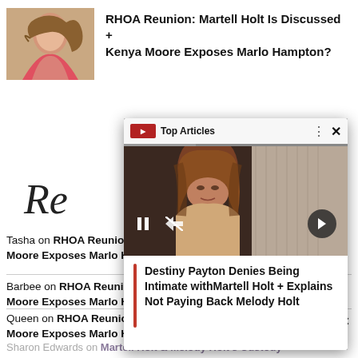[Figure (photo): Thumbnail photo of a woman with long highlighted hair wearing a pink/red top, smiling]
RHOA Reunion: Martell Holt Is Discussed + Kenya Moore Exposes Marlo Hampton?
Re
Tasha on RHOA Reunion: Martell Holt Is Discussed + Kenya Moore Exposes Marlo Hampton?
Barbee on RHOA Reunion: Martell Holt Is Discussed + Kenya Moore Exposes Marlo Hampton?
Queen on RHOA Reunion: Martell Holt is Discussed + Kenya Moore Exposes Marlo Hampton?
[Figure (screenshot): Video popup overlay showing a woman with long reddish-brown hair, with Top Articles label bar at top and video caption below]
Destiny Payton Denies Being Intimate withMartell Holt + Explains Not Paying Back Melody Holt
Sharon Edwards on Martell Holt & Melody Holt's Custody